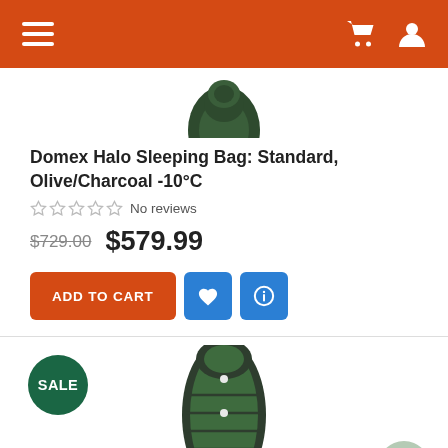Navigation bar with menu, cart, and user icons
[Figure (photo): Top of a green sleeping bag product image, partially visible at top of first product card]
Domex Halo Sleeping Bag: Standard, Olive/Charcoal -10°C
No reviews
$729.00  $579.99
ADD TO CART
[Figure (photo): Full mummy-style green/charcoal sleeping bag product image for second product card with SALE badge]